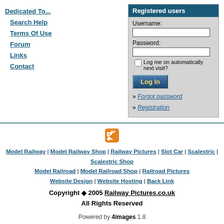Dedicated To...
Search Help
Terms Of Use
Forum
Links
Contact
Registered users
Username:
Password:
Log me on automatically next visit?
Log In
» Forgot password
» Registration
[Figure (logo): RSS feed orange icon]
Model Railway | Model Railway Shop | Railway Pictures | Slot Car | Scalextric | Scalextric Shop
Model Railroad | Model Railroad Shop | Railroad Pictures
Website Design | Website Hosting | Back Link
Copyright ◆ 2005 Railway Pictures.co.uk
All Rights Reserved
Powered by 4images 1.8
Copyright © 2002-2022 4homepages.de